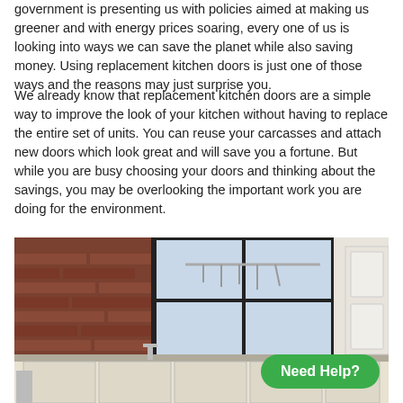government is presenting us with policies aimed at making us greener and with energy prices soaring, every one of us is looking into ways we can save the planet while also saving money. Using replacement kitchen doors is just one of those ways and the reasons may just surprise you.
We already know that replacement kitchen doors are a simple way to improve the look of your kitchen without having to replace the entire set of units. You can reuse your carcasses and attach new doors which look great and will save you a fortune. But while you are busy choosing your doors and thinking about the savings, you may be overlooking the important work you are doing for the environment.
[Figure (photo): A modern kitchen interior showing a brick wall with hanging utensils, large black-framed windows, and cream/white kitchen cabinets. A 'Need Help?' green button overlay is visible in the bottom right.]